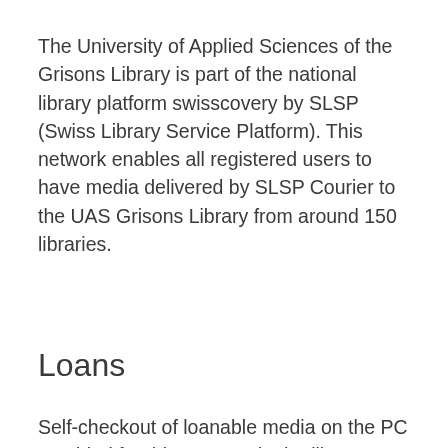The University of Applied Sciences of the Grisons Library is part of the national library platform swisscovery by SLSP (Swiss Library Service Platform). This network enables all registered users to have media delivered by SLSP Courier to the UAS Grisons Library from around 150 libraries.
Loans
Self-checkout of loanable media on the PC provided for this purpose in the library (user